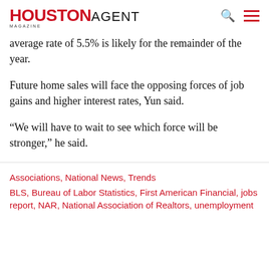HOUSTON AGENT MAGAZINE
average rate of 5.5% is likely for the remainder of the year.
Future home sales will face the opposing forces of job gains and higher interest rates, Yun said.
“We will have to wait to see which force will be stronger,” he said.
Associations, National News, Trends
BLS, Bureau of Labor Statistics, First American Financial, jobs report, NAR, National Association of Realtors, unemployment